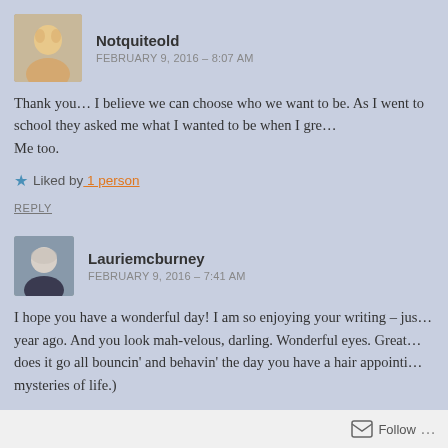[Figure (photo): Avatar photo of Notquiteold, a woman with blonde hair]
Notquiteold
FEBRUARY 9, 2016 – 8:07 AM
Thank you… I believe we can choose who we want to be. As I went to school they asked me what I wanted to be when I grew up. Me too.
★ Liked by 1 person
REPLY
[Figure (photo): Avatar photo of Lauriemcburney, a woman with short gray hair]
Lauriemcburney
FEBRUARY 9, 2016 – 7:41 AM
I hope you have a wonderful day! I am so enjoying your writing – just discovered you about a year ago. And you look mah-velous, darling. Wonderful eyes. Great hair! (Why does it go all bouncin' and behavin' the day you have a hair appointment? One of the mysteries of life.)